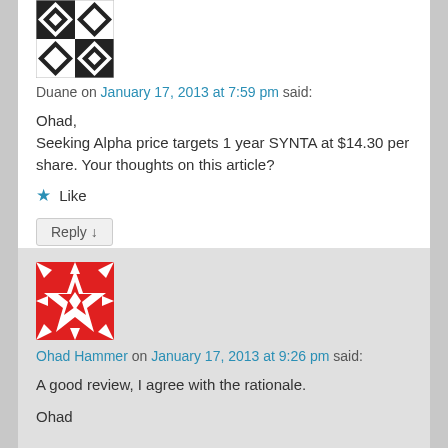[Figure (illustration): Black and white geometric quilt-pattern avatar for user Duane]
Duane on January 17, 2013 at 7:59 pm said:
Ohad,
Seeking Alpha price targets 1 year SYNTA at $14.30 per share. Your thoughts on this article?
★ Like
Reply ↓
[Figure (illustration): Red and white geometric quilt-pattern avatar for user Ohad Hammer]
Ohad Hammer on January 17, 2013 at 9:26 pm said:
A good review, I agree with the rationale.
Ohad